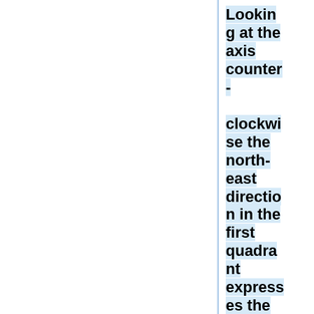Looking at the axis counter-clockwise the north-east direction in the first quadrant expresses the most hot and humid years